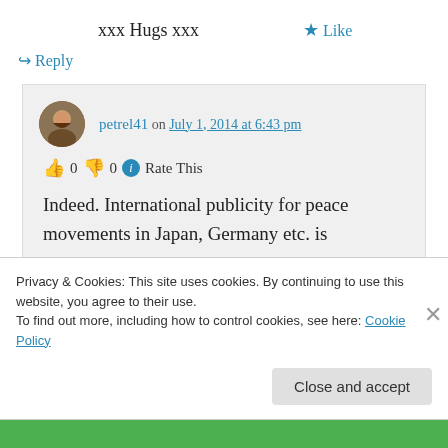xxx Hugs xxx
★ Like
↪ Reply
petrel41 on July 1, 2014 at 6:43 pm
👍 0 👎 0 ℹ Rate This
Indeed. International publicity for peace movements in Japan, Germany etc. is
Privacy & Cookies: This site uses cookies. By continuing to use this website, you agree to their use.
To find out more, including how to control cookies, see here: Cookie Policy
Close and accept